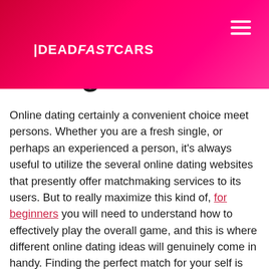DEADFASTCARS
Dating
Online dating certainly a convenient choice meet persons. Whether you are a fresh single, or perhaps an experienced a person, it's always useful to utilize the several online dating websites that presently offer matchmaking services to its users. But to really maximize this kind of, for beginners you will need to understand how to effectively play the overall game, and this is where different online dating ideas will genuinely come in handy. Finding the perfect match for your self is not rocket scientific disciplines. All you need is usually some suggestions from such sources so as to succeed in acquiring your true love.
The first thing to not forget when looking for your potential partner is to be while picky as possible. One thing you have